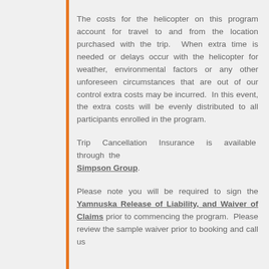The costs for the helicopter on this program account for travel to and from the location purchased with the trip.  When extra time is needed or delays occur with the helicopter for weather, environmental factors or any other unforeseen circumstances that are out of our control extra costs may be incurred.  In this event, the extra costs will be evenly distributed to all participants enrolled in the program.
Trip Cancellation Insurance is available through the Simpson Group.
Please note you will be required to sign the Yamnuska Release of Liability, and Waiver of Claims prior to commencing the program. Please review the sample waiver prior to booking and call us